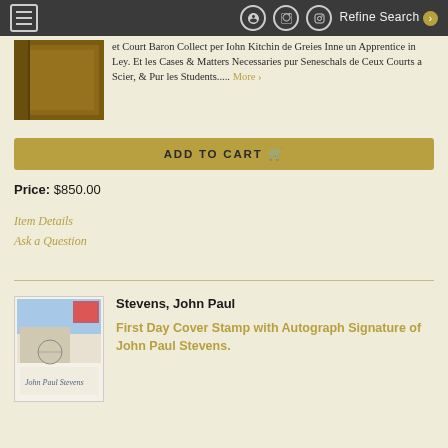Refine Search
et Court Baron Collect per Iohn Kitchin de Greies Inne un Apprentice in Ley. Et les Cases & Matters Necessaries pur Seneschals de Ceux Courts a Scier, & Pur les Students..... More >
ADD TO CART
Price: $850.00
Item Details
Ask a Question
Stevens, John Paul
First Day Cover Stamp with Autograph Signature of John Paul Stevens.